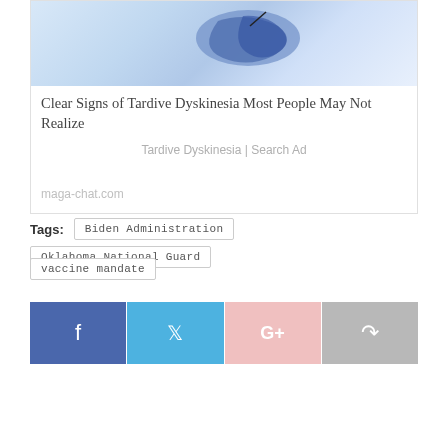[Figure (photo): Advertisement image with light blue gradient background with a dark blob shape, showing an ad for Tardive Dyskinesia]
Clear Signs of Tardive Dyskinesia Most People May Not Realize
Tardive Dyskinesia | Search Ad
maga-chat.com
Tags: Biden Administration  Oklahoma National Guard  vaccine mandate
[Figure (other): Social sharing buttons: Facebook, Twitter, Google+, Share]